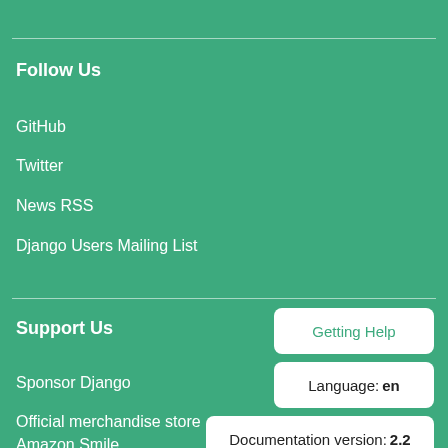Follow Us
GitHub
Twitter
News RSS
Django Users Mailing List
Support Us
Sponsor Django
Official merchandise store
Amazon Smile
Getting Help
Language: en
Documentation version: 2.2